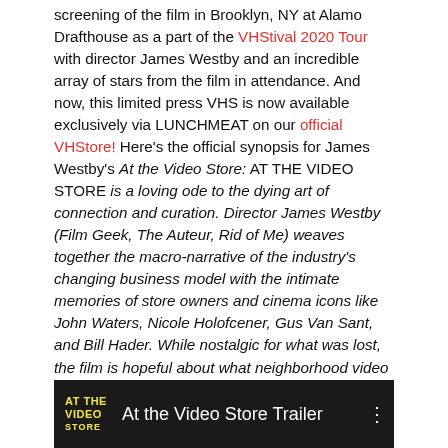screening of the film in Brooklyn, NY at Alamo Drafthouse as a part of the VHStival 2020 Tour with director James Westby and an incredible array of stars from the film in attendance. And now, this limited press VHS is now available exclusively via LUNCHMEAT on our official VHStore! Here's the official synopsis for James Westby's At the Video Store: AT THE VIDEO STORE is a loving ode to the dying art of connection and curation. Director James Westby (Film Geek, The Auteur, Rid of Me) weaves together the macro-narrative of the industry's changing business model with the intimate memories of store owners and cinema icons like John Waters, Nicole Holofcener, Gus Van Sant, and Bill Hader. While nostalgic for what was lost, the film is hopeful about what neighborhood video stores can still offer a world starved for authentic human interaction. And a look at the official trailer:
[Figure (screenshot): Video thumbnail showing 'At the Video Store Trailer' with yellow logo text on dark background]